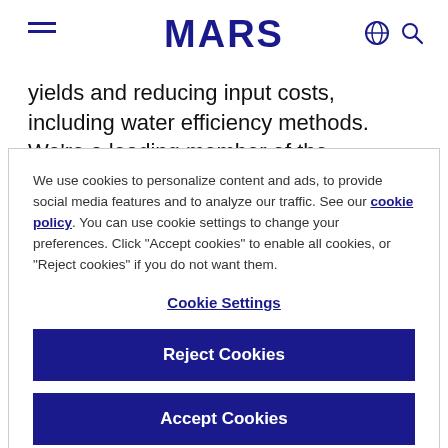MARS
yields and reducing input costs, including water efficiency methods. We're a leading member of the Sustainable Rice Platform (SRP), a global multi-
We use cookies to personalize content and ads, to provide social media features and to analyze our traffic. See our cookie policy. You can use cookie settings to change your preferences. Click "Accept cookies" to enable all cookies, or "Reject cookies" if you do not want them.
Cookie Settings
Reject Cookies
Accept Cookies